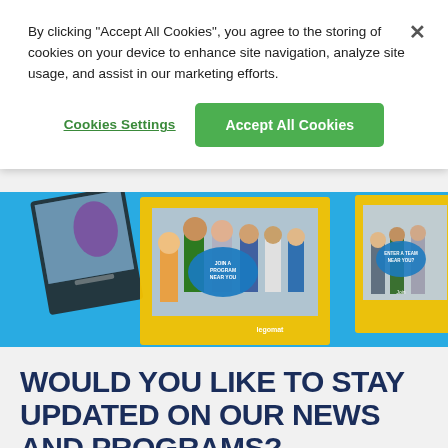By clicking "Accept All Cookies", you agree to the storing of cookies on your device to enhance site navigation, analyze site usage, and assist in our marketing efforts.
Cookies Settings
Accept All Cookies
[Figure (photo): Children and young students posing with colorful yellow and blue frames, educational program photo display on blue background]
WOULD YOU LIKE TO STAY UPDATED ON OUR NEWS AND PROGRAMS?